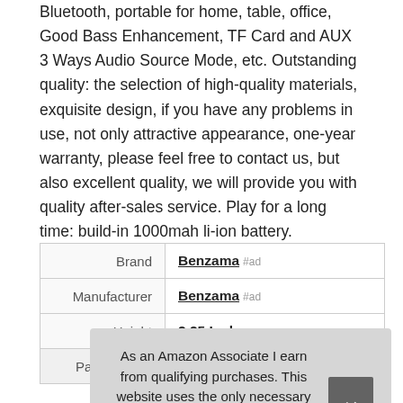Bluetooth, portable for home, table, office, Good Bass Enhancement, TF Card and AUX 3 Ways Audio Source Mode, etc. Outstanding quality: the selection of high-quality materials, exquisite design, if you have any problems in use, not only attractive appearance, one-year warranty, please feel free to contact us, but also excellent quality, we will provide you with quality after-sales service. Play for a long time: build-in 1000mah li-ion battery.
|  |  |
| --- | --- |
| Brand | Benzama #ad |
| Manufacturer | Benzama #ad |
| Height | 2.25 Inches |
| Part Number | X10 |
As an Amazon Associate I earn from qualifying purchases. This website uses the only necessary cookies to ensure you get the best experience on our website. More information